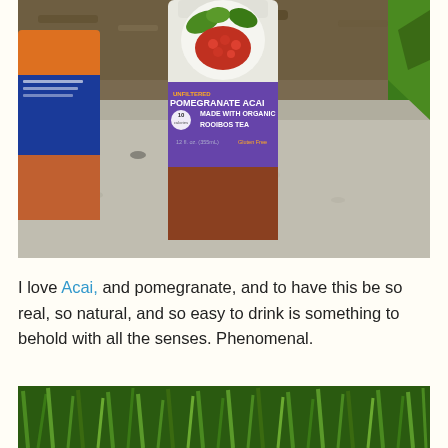[Figure (photo): Photo of a bottle of Unfiltered Pomegranate Acai tea made with organic rooibos tea (12 fl oz, 355mL, Gluten Free), placed on a concrete ledge outdoors. A partial second bottle is visible on the left side. Green plant leaves are visible on the right. Dirt and garden background at top.]
I love Acai, and pomegranate, and to have this be so real, so natural, and so easy to drink is something to behold with all the senses. Phenomenal.
[Figure (photo): Photo of green plants/herbs, partial view at bottom of page.]